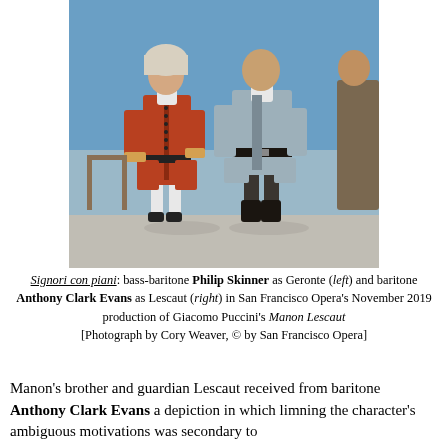[Figure (photo): Two male opera singers on stage in 18th-century costumes. Left figure wears a red/orange coat with ornate buttons; right figure wears a gray-blue coat with black belt and boots. Blue backdrop, light-colored stage floor.]
Signori con piani: bass-baritone Philip Skinner as Geronte (left) and baritone Anthony Clark Evans as Lescaut (right) in San Francisco Opera's November 2019 production of Giacomo Puccini's Manon Lescaut [Photograph by Cory Weaver, © by San Francisco Opera]
Manon's brother and guardian Lescaut received from baritone Anthony Clark Evans a depiction in which limning the character's ambiguous motivations was secondary to